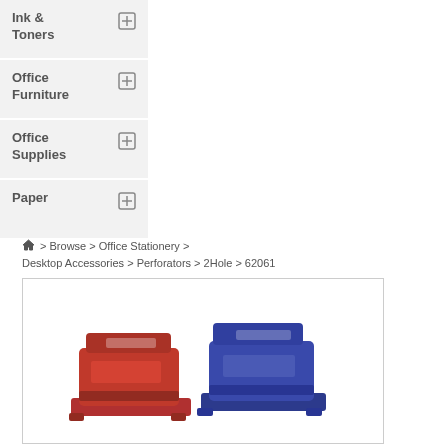Ink & Toners
Office Furniture
Office Supplies
Paper
Home > Browse > Office Stationery > Desktop Accessories > Perforators > 2Hole > 62061
[Figure (photo): Two hole punchers side by side — one red on the left and one blue/purple on the right, shown at an angle against a white background inside a bordered product image box.]